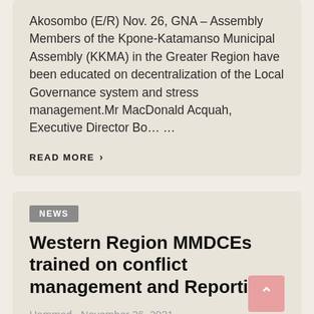Akosombo (E/R) Nov. 26, GNA – Assembly Members of the Kpone-Katamanso Municipal Assembly (KKMA) in the Greater Region have been educated on decentralization of the Local Governance system and stress management.Mr MacDonald Acquah, Executive Director Bo… …
READ MORE >
NEWS
Western Region MMDCEs trained on conflict management and Reporting
Hammad  November 26, 2021